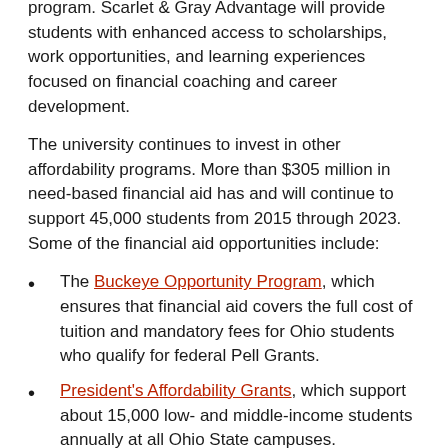cohort of about 120 now-first-year students to pilot this program. Scarlet & Gray Advantage will provide students with enhanced access to scholarships, work opportunities, and learning experiences focused on financial coaching and career development.
The university continues to invest in other affordability programs. More than $305 million in need-based financial aid has and will continue to support 45,000 students from 2015 through 2023. Some of the financial aid opportunities include:
The Buckeye Opportunity Program, which ensures that financial aid covers the full cost of tuition and mandatory fees for Ohio students who qualify for federal Pell Grants.
President's Affordability Grants, which support about 15,000 low- and middle-income students annually at all Ohio State campuses.
Land Grant Opportunity Scholarships, which have been expanded to cover the full cost of attendance and doubled in number since autumn 2018.